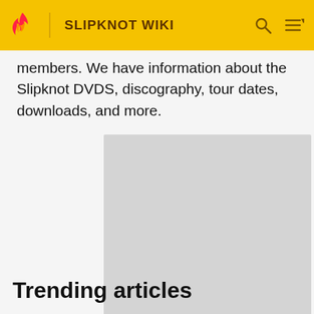SLIPKNOT WIKI
members. We have information about the Slipknot DVDS, discography, tour dates, downloads, and more.
[Figure (other): Grey advertisement placeholder block]
ADVERTISEMENT
Trending articles